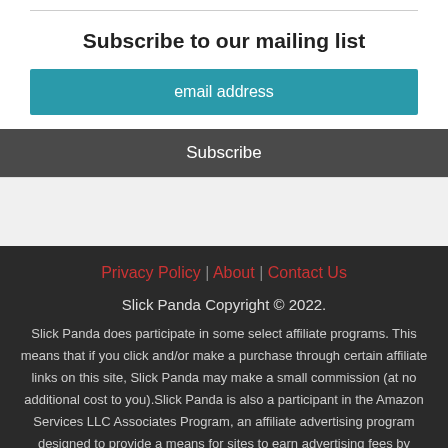Subscribe to our mailing list
email address
Subscribe
Privacy Policy | About | Contact Us
Slick Panda Copyright © 2022.
Slick Panda does participate in some select affiliate programs. This means that if you click and/or make a purchase through certain affiliate links on this site, Slick Panda may make a small commission (at no additional cost to you).Slick Panda is also a participant in the Amazon Services LLC Associates Program, an affiliate advertising program designed to provide a means for sites to earn advertising fees by advertising and linking to Amazon.com.All opinions are of the